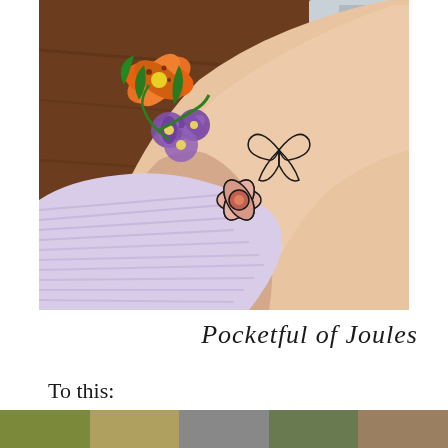[Figure (photo): Close-up photo of a person's upper arm/shoulder area showing a floral tattoo with orange, purple, and pink flowers, with a bruise visible on the inner arm. Brown wooden floor visible in background along with a chair.]
Pocketful of Joules
To this:
[Figure (photo): Row of small thumbnail photos partially visible at the bottom of the page]